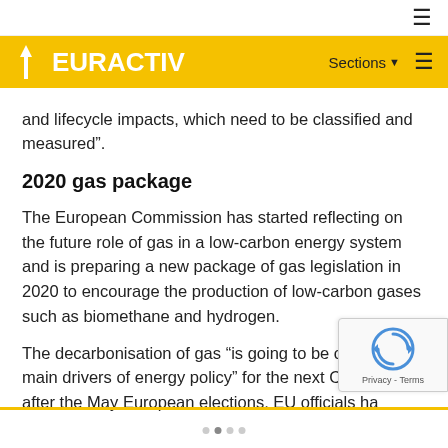EURACTIV — Sections
and lifecycle impacts, which need to be classified and measured”.
2020 gas package
The European Commission has started reflecting on the future role of gas in a low-carbon energy system and is preparing a new package of gas legislation in 2020 to encourage the production of low-carbon gases such as biomethane and hydrogen.
The decarbonisation of gas “is going to be one of the main drivers of energy policy” for the next Commission after the May European elections, EU officials ha…